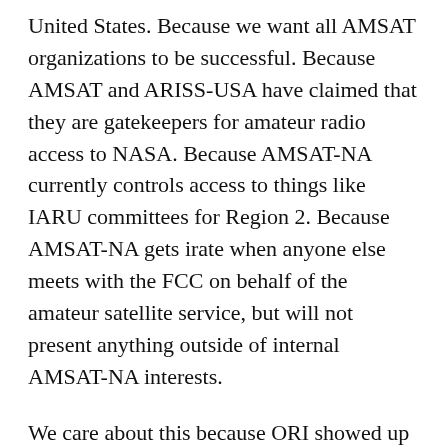United States. Because we want all AMSAT organizations to be successful. Because AMSAT and ARISS-USA have claimed that they are gatekeepers for amateur radio access to NASA. Because AMSAT-NA currently controls access to things like IARU committees for Region 2. Because AMSAT-NA gets irate when anyone else meets with the FCC on behalf of the amateur satellite service, but will not present anything outside of internal AMSAT-NA interests.
We care about this because ORI showed up and contributed within the AMSAT framework in good faith.
AMSAT-NA is, to be blunt, supposed to help us do exactly what we are doing. We are not a “threat”. We are not “thieves”. We are not “grifters”. We are not “frauds”. We don’t “siphon technical members away”. We are not “an embarrassment”. We deserve absolutely none of this sort of thing. We have invited AMSAT-NA to participate